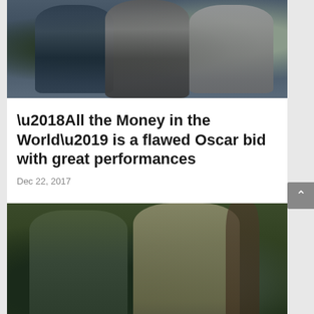[Figure (photo): Three people walking together — two men in suits and a woman in a patterned dress, photographed from waist up, appears to be a movie still]
‘All the Money in the World’ is a flawed Oscar bid with great performances
Dec 22, 2017
[Figure (photo): Two men facing each other in a wooded/forest setting, one in a green cardigan and one in a tan jacket, appears to be a movie still]